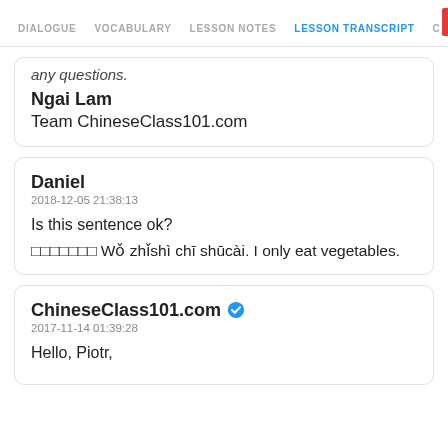DIALOGUE | VOCABULARY | LESSON NOTES | LESSON TRANSCRIPT | C
any questions.
Ngai Lam
Team ChineseClass101.com
Daniel
2018-12-05 21:38:13
Is this sentence ok?

□□□□□□□ Wǒ zhǐshì chī shūcài. I only eat vegetables.
ChineseClass101.com ✔
2017-11-14 01:39:28
Hello, Piotr,